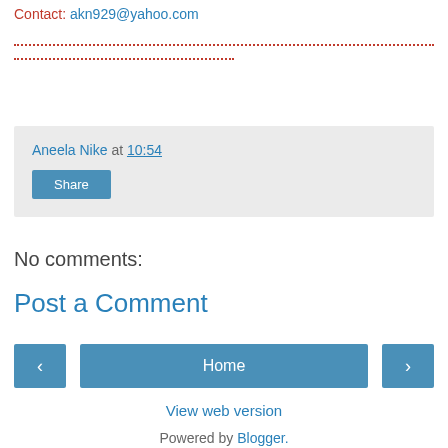Contact: akn929@yahoo.com
Aneela Nike at 10:54
Share
No comments:
Post a Comment
‹
Home
›
View web version
Powered by Blogger.